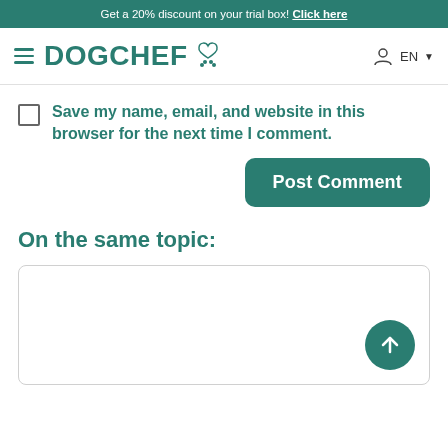Get a 20% discount on your trial box! Click here
[Figure (logo): DogChef logo with teal text and paw/heart icon, plus hamburger menu icon on left and user icon with EN dropdown on right]
Save my name, email, and website in this browser for the next time I comment.
Post Comment
On the same topic:
[Figure (screenshot): Empty white card box with rounded border and a teal scroll-to-top arrow button in the bottom right corner]